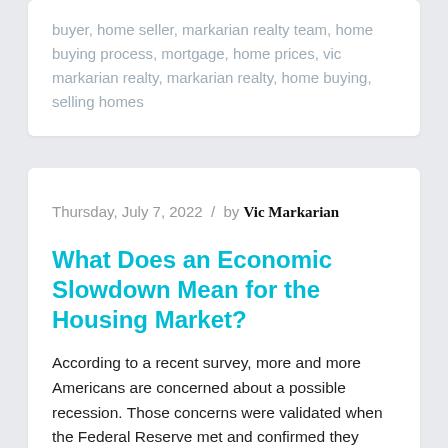buyer, home seller, markarian realty team, home buying process, mortgage, home prices, vic markarian realty, markarian realty, home buying, selling homes
Thursday, July 7, 2022  /  by Vic Markarian
What Does an Economic Slowdown Mean for the Housing Market?
According to a recent survey, more and more Americans are concerned about a possible recession. Those concerns were validated when the Federal Reserve met and confirmed they were strongly committed to bringing down inflation. And, in order to do so, they'd use their tools and influence to slow